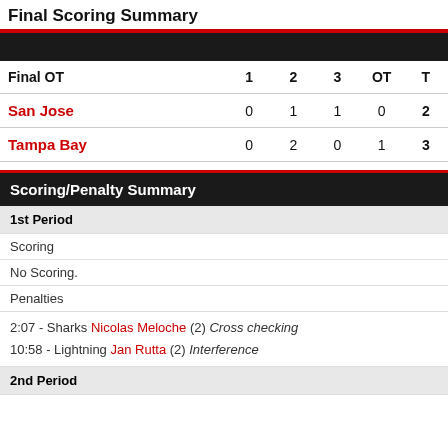Final Scoring Summary
| Final OT | 1 | 2 | 3 | OT | T |
| --- | --- | --- | --- | --- | --- |
| San Jose | 0 | 1 | 1 | 0 | 2 |
| Tampa Bay | 0 | 2 | 0 | 1 | 3 |
Scoring/Penalty Summary
1st Period
Scoring
No Scoring.
Penalties
2:07 - Sharks Nicolas Meloche (2) Cross checking
10:58 - Lightning Jan Rutta (2) Interference
2nd Period